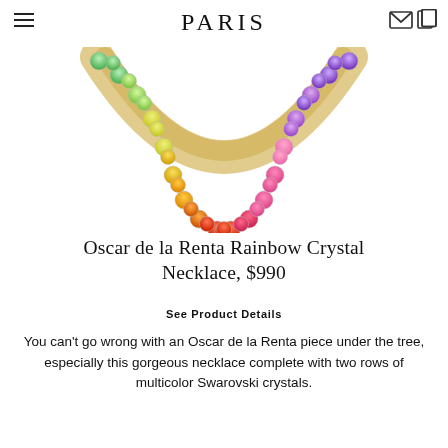PARIS
[Figure (photo): Close-up photo of a rainbow crystal necklace with two rows of multicolor Swarovski crystals arranged in a U-shape, showing green, yellow, orange, red, pink, and purple crystals set in gold.]
Oscar de la Renta Rainbow Crystal Necklace, $990
See Product Details
You can't go wrong with an Oscar de la Renta piece under the tree, especially this gorgeous necklace complete with two rows of multicolor Swarovski crystals.